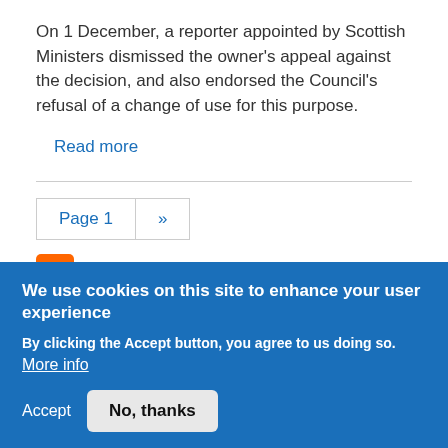On 1 December, a reporter appointed by Scottish Ministers dismissed the owner's appeal against the decision, and also endorsed the Council's refusal of a change of use for this purpose.
Read more
Page 1 »
[Figure (logo): RSS feed icon, orange square with white wifi-style signal symbol]
LEITH WALK POLICEBOX
We use cookies on this site to enhance your user experience
By clicking the Accept button, you agree to us doing so. More info
Accept   No, thanks